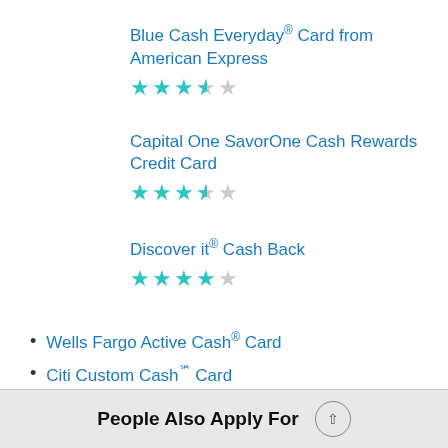Blue Cash Everyday® Card from American Express ★★★½☆
Capital One SavorOne Cash Rewards Credit Card ★★★½☆
Discover it® Cash Back ★★★★☆
Wells Fargo Active Cash® Card
Citi Custom Cash℠ Card
People Also Apply For